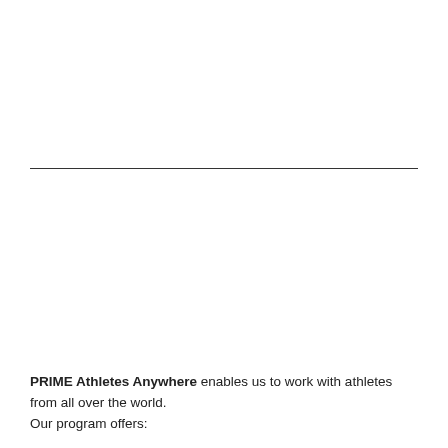PRIME Athletes Anywhere enables us to work with athletes from all over the world. Our program offers: